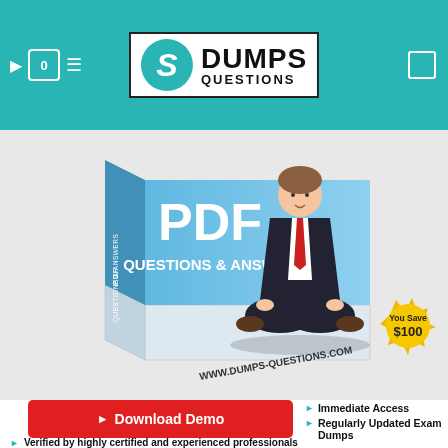[Figure (logo): DumpsQuestions logo with teal S circle and bold text DUMPS QUESTIONS]
[Figure (illustration): Product box illustration showing PDF Questions & Answers with a businessman meditating on top, website URL www.dumps-questions.com, and a gold badge showing You Save $100]
Download Demo
Immediate Access
Regularly Updated Exam Dumps
Verified by highly certified and experienced professionals
100 % success rate
Best material for exam preparation